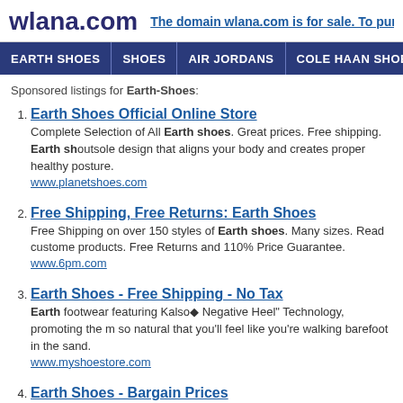wlana.com | The domain wlana.com is for sale. To purcha...
EARTH SHOES | SHOES | AIR JORDANS | COLE HAAN SHOES | DANCE S...
Sponsored listings for Earth-Shoes:
1. Earth Shoes Official Online Store
Complete Selection of All Earth shoes. Great prices. Free shipping. Earth sh... outsole design that aligns your body and creates proper healthy posture.
www.planetshoes.com
2. Free Shipping, Free Returns: Earth Shoes
Free Shipping on over 150 styles of Earth shoes. Many sizes. Read custome... products. Free Returns and 110% Price Guarantee.
www.6pm.com
3. Earth Shoes - Free Shipping - No Tax
Earth footwear featuring Kalso® Negative Heel" Technology, promoting the m... so natural that you'll feel like you're walking barefoot in the sand.
www.myshoestore.com
4. Earth Shoes - Bargain Prices
Shop fast, Buy smart, Shopzilla for Shoes and other Shoes and Footwear Pr... from every store means you get a Bargain Price. Don't just shop, Shopzilla.
www.shopzilla.com
5. Earth Shoes - Free Shipping